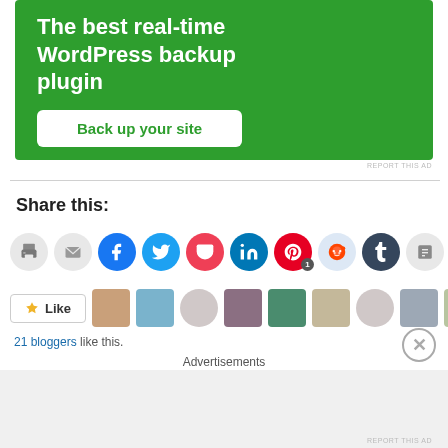[Figure (screenshot): Green advertisement banner for WordPress backup plugin with 'Back up your site' button]
REPORT THIS AD
Share this:
[Figure (infographic): Row of social sharing icon buttons: print, email, Facebook, Twitter, Pocket, LinkedIn, Pinterest (with badge 1), Reddit, Tumblr, print2]
[Figure (infographic): Like button and row of blogger avatar thumbnails]
21 bloggers like this.
Advertisements
REPORT THIS AD